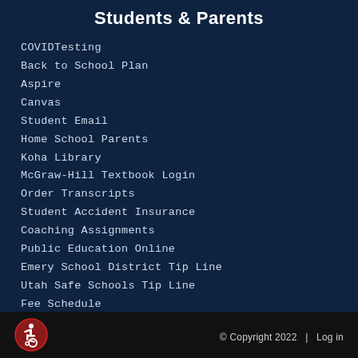Students & Parents
COVIDTesting
Back to School Plan
Aspire
Canvas
Student Email
Home School Parents
Koha Library
McGraw-Hill Textbook Login
Order Transcripts
Student Accident Insurance
Coaching Assignments
Public Education Online
Emery School District Tip Line
Utah Safe Schools Tip Line
Fee Schedule
[Figure (logo): Accessibility icon — wheelchair symbol in a red circle]
© Copyright 2022   |   Log in